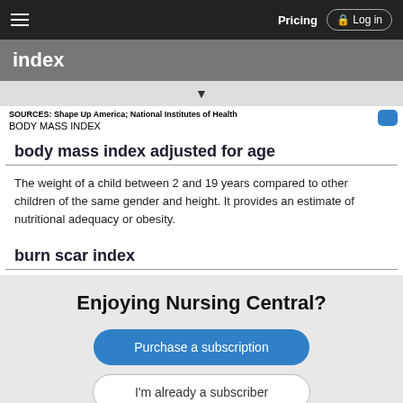Pricing  Log in
index
SOURCES: Shape Up America; National Institutes of Health
BODY MASS INDEX
body mass index adjusted for age
The weight of a child between 2 and 19 years compared to other children of the same gender and height. It provides an estimate of nutritional adequacy or obesity.
burn scar index
Enjoying Nursing Central?
Purchase a subscription
I'm already a subscriber